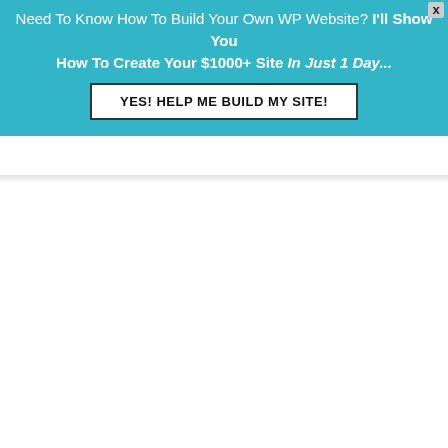[Figure (screenshot): Teal/cyan promotional banner ad for a WordPress website building course. Text reads: 'Need To Know How To Build Your Own WP Website? I'll Show You How To Create Your $1000+ Site In Just 1 Day...' with a white button 'YES! HELP ME BUILD MY SITE!' and an X close button in top-right corner. Below the banner is a white/blank area.]